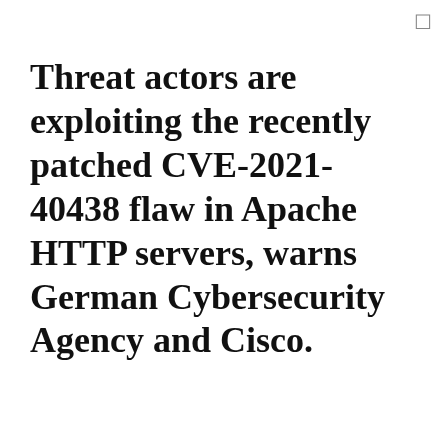Threat actors are exploiting the recently patched CVE-2021-40438 flaw in Apache HTTP servers, warns German Cybersecurity Agency and Cisco.
Threat actors are exploiting a recently addressed
We use cookies on our website to give you the most relevant experience by remembering your preferences and repeat visits. By clicking “Accept All”, you consent to the use of ALL the cookies. However, you may visit "Cookie Settings" to provide a controlled consent.